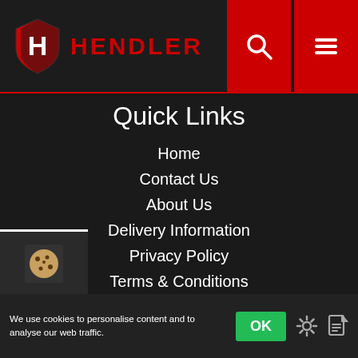[Figure (logo): Hendler logo: red and black shield with H, next to red text HENDLER]
Quick Links
Home
Contact Us
About Us
Delivery Information
Privacy Policy
Terms & Conditions
Cookie Policy
My Account
Login
Register
We use cookies to personalise content and to analyse our web traffic.